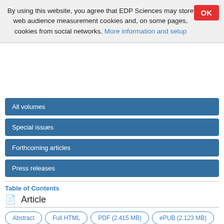By using this website, you agree that EDP Sciences may store web audience measurement cookies and, on some pages, cookies from social networks. More information and setup
All volumes
Special issues
Forthcoming articles
Press releases
Table of Contents
Article
Abstract
Full HTML
PDF (2.415 MB)
ePUB (2.123 MB)
References
Online Material
Tables at CDS
NASA ADS Abstract Service